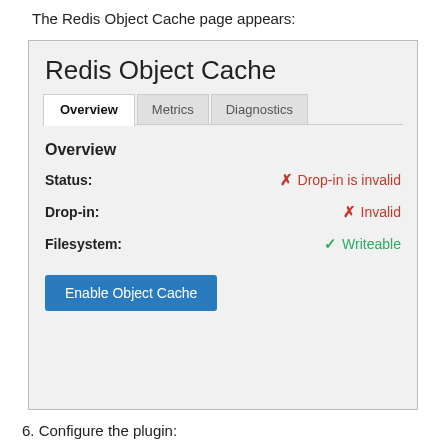The Redis Object Cache page appears:
[Figure (screenshot): Screenshot of the Redis Object Cache plugin admin page showing three tabs (Overview, Metrics, Diagnostics), with Overview selected. Shows Status: Drop-in is invalid (red X), Drop-in: Invalid (red X), Filesystem: Writeable (green checkmark), and an 'Enable Object Cache' blue button.]
6. Configure the plugin:
If you have a Managed VPS or Dedicated Server, click